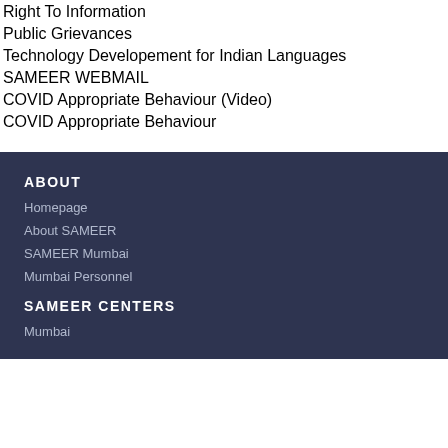| Right To Information |
| Public Grievances |
| Technology Developement for Indian Languages |
| SAMEER WEBMAIL |
| COVID Appropriate Behaviour (Video) |
| COVID Appropriate Behaviour |
ABOUT
Homepage
About SAMEER
SAMEER Mumbai
Mumbai Personnel
SAMEER CENTERS
Mumbai